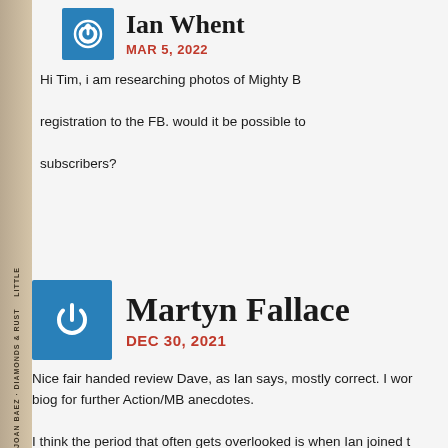Ian Whent
MAR 5, 2022
Hi Tim, i am researching photos of Mighty B registration to the FB. would it be possible to subscribers?
Martyn Fallace
DEC 30, 2021
Nice fair handed review Dave, as Ian says, mostly correct. I wor biog for further Action/MB anecdotes. I think the period that often gets overlooked is when Ian joined t left, and Reg was still singing lead (although about to lose the p the plot was about to lose him!) Martin Stone had yet to join the recordings exist, notably on the BBC Uptight and Outasight rele along with Love is All, there is a superb rendition of the Byrds the BBC Saturday Club recording along with the first recorded over 3 minutes, does not hint at the opus it was to become with mins worth at Glastonbury Fair (strictly speaking, Blanket In M